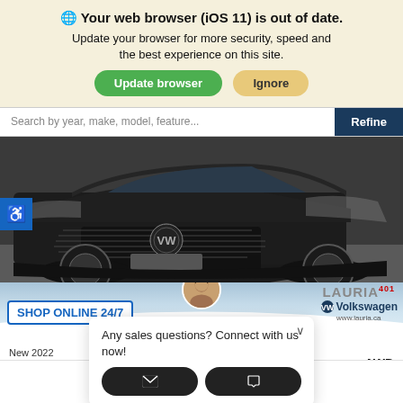🌐 Your web browser (iOS 11) is out of date. Update your browser for more security, speed and the best experience on this site.
Update browser | Ignore
Search by year, make, model, feature...
Refine
[Figure (photo): Front close-up of a black Volkswagen SUV (Tiguan) on a grey background]
SHOP ONLINE 24/7
LAURIA 401 Volkswagen www.lauria.ca
New 2022
New 2022
Stock: 122961
on AWD
Exterior: D
Any sales questions? Connect with us now!
This site uses cookies.
OK